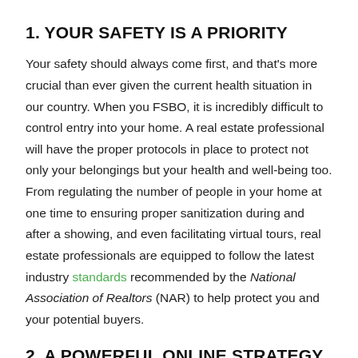1. YOUR SAFETY IS A PRIORITY
Your safety should always come first, and that's more crucial than ever given the current health situation in our country. When you FSBO, it is incredibly difficult to control entry into your home. A real estate professional will have the proper protocols in place to protect not only your belongings but your health and well-being too. From regulating the number of people in your home at one time to ensuring proper sanitization during and after a showing, and even facilitating virtual tours, real estate professionals are equipped to follow the latest industry standards recommended by the National Association of Realtors (NAR) to help protect you and your potential buyers.
2. A POWERFUL ONLINE STRATEGY IS A